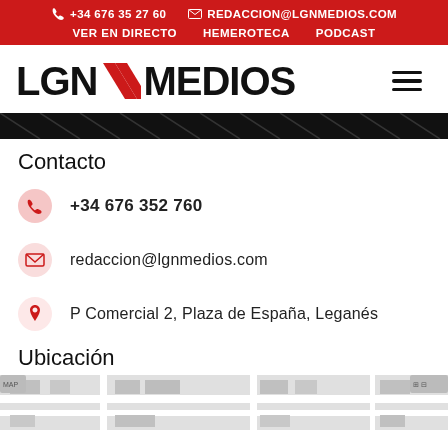+34 676 35 27 60 | REDACCION@LGNMEDIOS.COM | VER EN DIRECTO | HEMEROTECA | PODCAST
[Figure (logo): LGN Medios logo with red chevron/slash icon between LGN and MEDIOS text]
Contacto
+34 676 352 760
redaccion@lgnmedios.com
P Comercial 2, Plaza de España, Leganés
Ubicación
[Figure (map): Street map showing location near Plaza de España, Leganés]